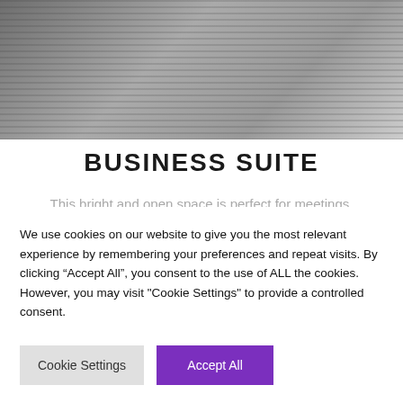[Figure (photo): Interior photo of a business suite meeting room showing dark striped carpet flooring, chairs, and a table with white tablecloth in the background.]
BUSINESS SUITE
This bright and open space is perfect for meetings, seminars and training workshops. With projector and whiteboard facilities available, the Business Suite provides a relaxed atmosphere which will encourage creative thinking. Available in two formats: boardroom and theatre style, the Business
We use cookies on our website to give you the most relevant experience by remembering your preferences and repeat visits. By clicking "Accept All", you consent to the use of ALL the cookies. However, you may visit "Cookie Settings" to provide a controlled consent.
Cookie Settings
Accept All